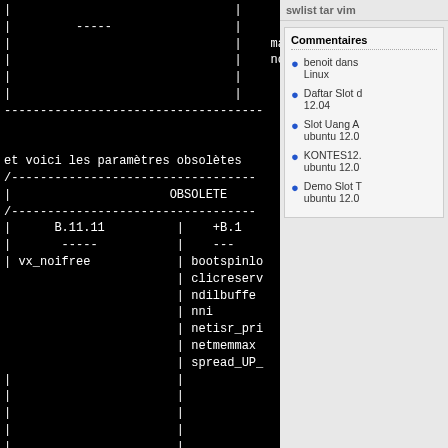[Figure (screenshot): Terminal/console output on black background showing kernel parameters table with columns for B.11.11 and newer versions, listing parameters like maxswapchunks, ncallout, vx_noifree, bootspinlocks, clicreserv, ndilbuffers, nni, netisr_priority, netmemmax, spread_UPD. Shows 'et voici les parametres obsoletes' text and OBSOLETE section header.]
swlist tar vim
Commentaires
benoit dans Linux
Daftar Slot d 12.04
Slot Uang A ubuntu 12.0
KONTES12. ubuntu 12.0
Demo Slot T ubuntu 12.0